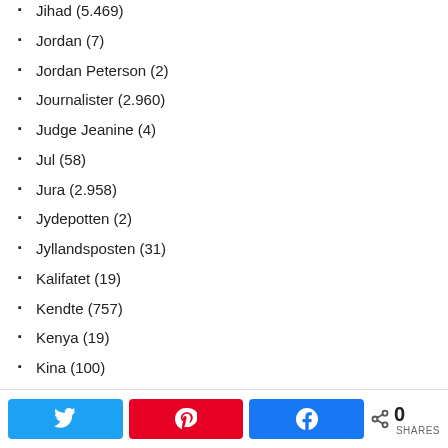Jihad (5.469)
Jordan (7)
Jordan Peterson (2)
Journalister (2.960)
Judge Jeanine (4)
Jul (58)
Jura (2.958)
Jydepotten (2)
Jyllandsposten (31)
Kalifatet (19)
Kendte (757)
Kenya (19)
Kina (100)
Kina (26)
Kirke (142)
Kitman (21)
Klima (140)
Klynk (31)
0 SHARES